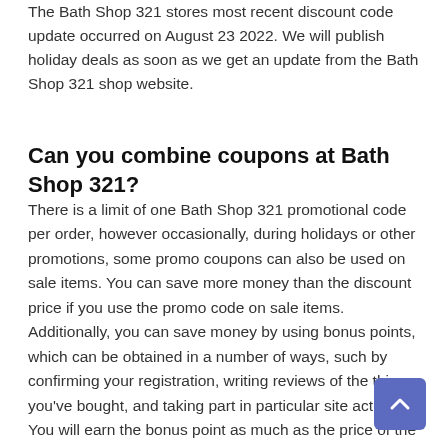The Bath Shop 321 stores most recent discount code update occurred on August 23 2022. We will publish holiday deals as soon as we get an update from the Bath Shop 321 shop website.
Can you combine coupons at Bath Shop 321?
There is a limit of one Bath Shop 321 promotional code per order, however occasionally, during holidays or other promotions, some promo coupons can also be used on sale items. You can save more money than the discount price if you use the promo code on sale items. Additionally, you can save money by using bonus points, which can be obtained in a number of ways, such by confirming your registration, writing reviews of the things you've bought, and taking part in particular site activities. You will earn the bonus point as much as the price of the items you paid as well, and the points will be credited to your account once you confirm delivery of your order.